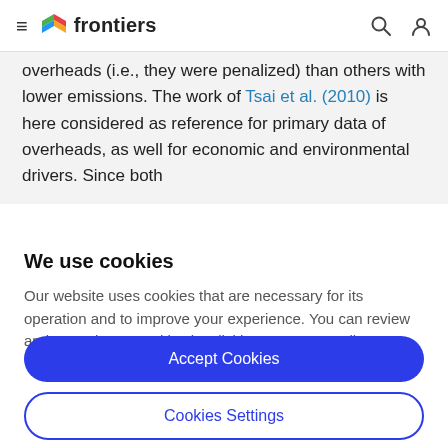≡ frontiers [search] [user]
overheads (i.e., they were penalized) than others with lower emissions. The work of Tsai et al. (2010) is here considered as reference for primary data of overheads, as well for economic and environmental drivers. Since both
We use cookies
Our website uses cookies that are necessary for its operation and to improve your experience. You can review and control your cookies by clicking on "Accept All" or on "Cookies Settings".
Accept Cookies
Cookies Settings